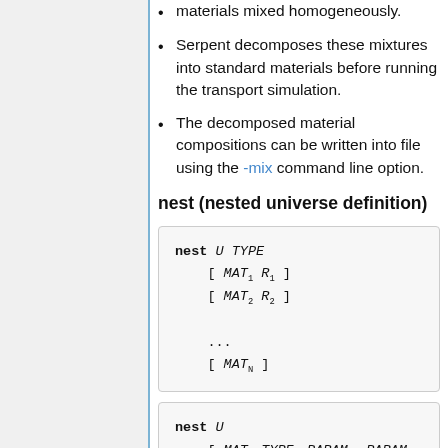Serpent decomposes these mixtures into standard materials before running the transport simulation.
The decomposed material compositions can be written into file using the -mix command line option.
nest (nested universe definition)
[Figure (other): Code block showing nest U TYPE syntax with [ MAT_1 R_1 ] [ MAT_2 R_2 ] ... [ MAT_N ] lines]
[Figure (other): Code block showing nest U syntax with [ MAT_1 TYPE_1 PARAM_11 PARAM_12 ] [ MAT_2 TYPE_2 PARAM_21 PARAM_22 ] ... [ MAT_N ] lines]